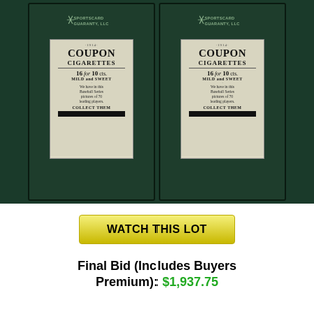[Figure (photo): Two Coupon Cigarettes baseball cards in green SGC (Sportscard Guaranty LLC) graded card holders, showing the backs of the cards which read 'COUPON CIGARETTES 16 for 10 cts. MILD and SWEET. We have in this Baseball Series pictures of 70 leading players. COLLECT THEM']
WATCH THIS LOT
Final Bid (Includes Buyers Premium): $1,937.75